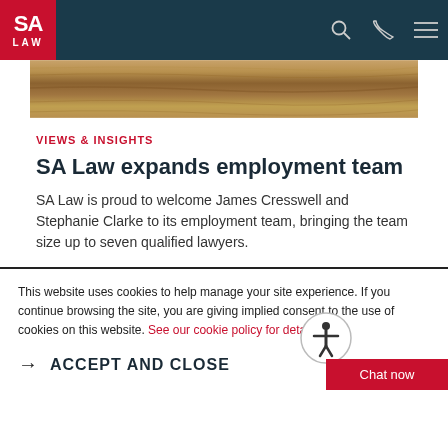[Figure (logo): SA Law logo in red square, white text]
[Figure (photo): Close-up wood texture / wooden surface photo]
VIEWS & INSIGHTS
SA Law expands employment team
SA Law is proud to welcome James Cresswell and Stephanie Clarke to its employment team, bringing the team size up to seven qualified lawyers.
This website uses cookies to help manage your site experience. If you continue browsing the site, you are giving implied consent to the use of cookies on this website. See our cookie policy for details
ACCEPT AND CLOSE